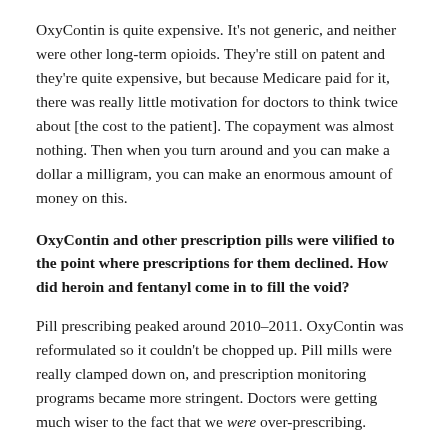OxyContin is quite expensive. It's not generic, and neither were other long-term opioids. They're still on patent and they're quite expensive, but because Medicare paid for it, there was really little motivation for doctors to think twice about [the cost to the patient]. The copayment was almost nothing. Then when you turn around and you can make a dollar a milligram, you can make an enormous amount of money on this.
OxyContin and other prescription pills were vilified to the point where prescriptions for them declined. How did heroin and fentanyl come in to fill the void?
Pill prescribing peaked around 2010–2011. OxyContin was reformulated so it couldn't be chopped up. Pill mills were really clamped down on, and prescription monitoring programs became more stringent. Doctors were getting much wiser to the fact that we were over-prescribing.